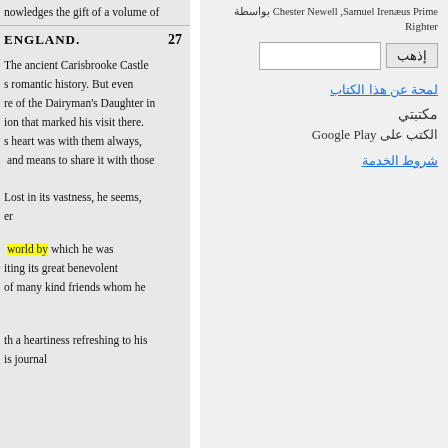nowledges the gift of a volume of
ENGLAND.  27
The ancient Carisbrooke Castle
s romantic history. But even
re of the Dairyman's Daughter in
ion that marked his visit there.
s heart was with them always,
and means to share it with those
Lost in its vastness, he seems,
er
world by which he was
iting its great benevolent
of many kind friends whom he
th a heartiness refreshing to his
is journal
Chester Newell ,Samuel Irenæus Prime بواسطة
Righter
إذهب
لمحة عن هذا الكتاب
مكتبتي
الكتب على Google Play
شروط الخدمة